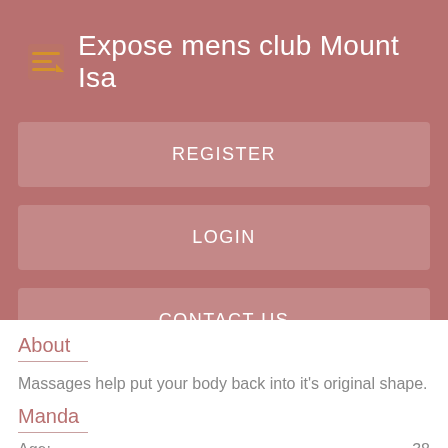Expose mens club Mount Isa
REGISTER
LOGIN
CONTACT US
About
Massages help put your body back into it's original shape.
Manda
Age: 38